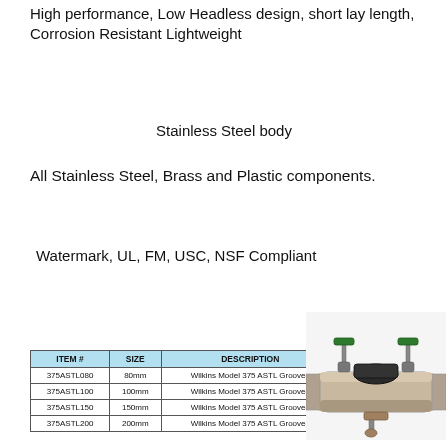High performance, Low Headless design, short lay length, Corrosion Resistant Lightweight
Stainless Steel body
All Stainless Steel, Brass and Plastic components.
Watermark, UL, FM, USC, NSF Compliant
| ITEM # | SIZE | DESCRIPTION |
| --- | --- | --- |
| 375ASTL080 | 80mm | Wilkins Model 375 ASTL Grooved |
| 375ASTL100 | 100mm | Wilkins Model 375 ASTL Grooved |
| 375ASTL150 | 150mm | Wilkins Model 375 ASTL Grooved |
| 375ASTL200 | 200mm | Wilkins Model 375 ASTL Grooved |
[Figure (photo): Photo of Wilkins Model 375 ASTL Grooved backflow preventer valve assembly with green handle ball valves on top and a cylindrical stainless steel body]